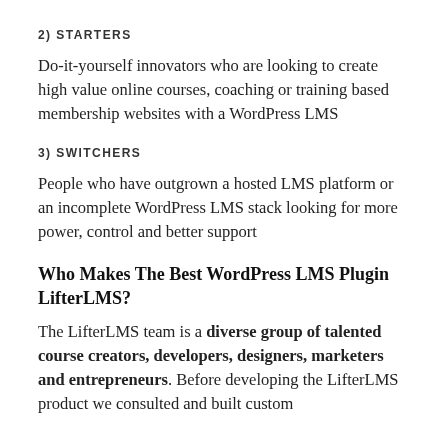2) STARTERS
Do-it-yourself innovators who are looking to create high value online courses, coaching or training based membership websites with a WordPress LMS
3) SWITCHERS
People who have outgrown a hosted LMS platform or an incomplete WordPress LMS stack looking for more power, control and better support
Who Makes The Best WordPress LMS Plugin LifterLMS?
The LifterLMS team is a diverse group of talented course creators, developers, designers, marketers and entrepreneurs. Before developing the LifterLMS product we consulted and built custom